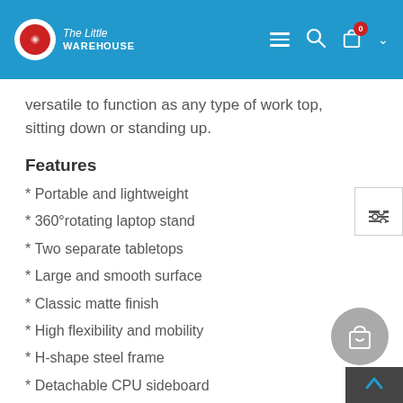The Little Warehouse — navigation header with logo, hamburger menu, search, and cart (0 items)
versatile to function as any type of work top, sitting down or standing up.
Features
* Portable and lightweight
* 360°rotating laptop stand
* Two separate tabletops
* Large and smooth surface
* Classic matte finish
* High flexibility and mobility
* H-shape steel frame
* Detachable CPU sideboard
* Adjustable standing height
* Adjustable tilting angle
* Locking knobs for adjustment